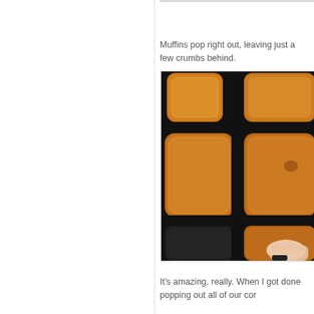Muffins pop right out, leaving just a few crumbs behind.
[Figure (photo): A dark muffin tin/tray with golden-brown baked muffins being popped out, viewed from above. Some muffin slots are empty showing the dark non-stick surface, and a hand is visible at the bottom right tilting the pan.]
It's amazing, really. When I got done popping out all of our cor